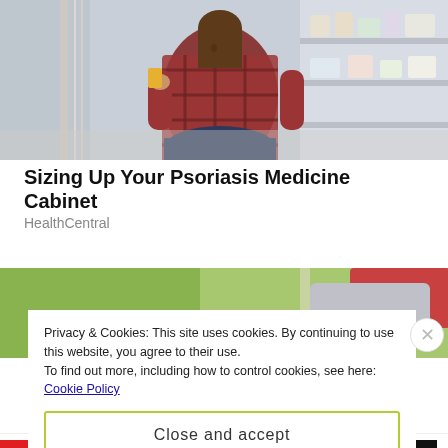[Figure (photo): Woman in plaid shirt crouching in a pharmacy/drugstore aisle, looking at products on shelves. Store shelves with health and beauty products visible in background.]
Sizing Up Your Psoriasis Medicine Cabinet
HealthCentral
[Figure (photo): Partial photo with green blurred background and red/gray object visible, partially obscured by cookie banner overlay.]
Privacy & Cookies: This site uses cookies. By continuing to use this website, you agree to their use.
To find out more, including how to control cookies, see here: Cookie Policy
Close and accept